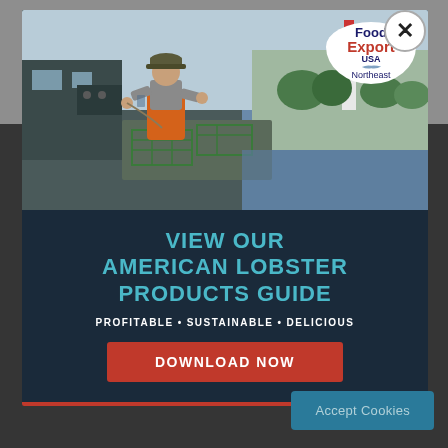terrified farmers rushing to harvest shrimp in March after just one-and-a-half months of growth to reduce losses. Therefore, shrimp of small sizes of 100-250 count per kilogram were sold in large volumes, mostly destined for processing and export to
[Figure (photo): A fisherman on a boat unloading lobster traps from the water, with a lighthouse and coastal scenery in the background. Food Export USA Northeast logo badge in upper right corner.]
VIEW OUR AMERICAN LOBSTER PRODUCTS GUIDE
PROFITABLE • SUSTAINABLE • DELICIOUS
DOWNLOAD NOW
Accept Cookies